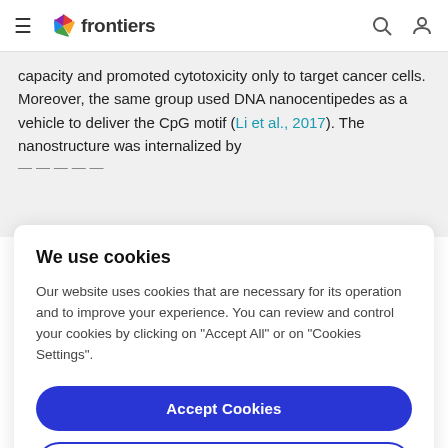frontiers
capacity and promoted cytotoxicity only to target cancer cells. Moreover, the same group used DNA nanocentipedes as a vehicle to deliver the CpG motif (Li et al., 2017). The nanostructure was internalized by
We use cookies
Our website uses cookies that are necessary for its operation and to improve your experience. You can review and control your cookies by clicking on "Accept All" or on "Cookies Settings".
Accept Cookies
Cookies Settings